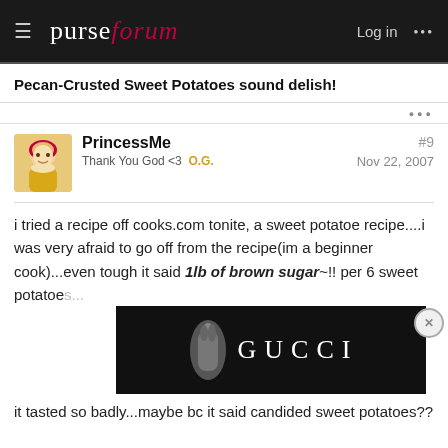purseforum  Log in
Pecan-Crusted Sweet Potatoes sound delish!
PrincessMe  Thank You God <3  O.G.  #9  Nov 22, 2007
i tried a recipe off cooks.com tonite, a sweet potatoe recipe....i was very afraid to go off from the recipe(im a beginner cook)...even tough it said 1lb of brown sugar~!! per 6 sweet potatoes...
[Figure (screenshot): Gucci advertisement banner with black background showing a hand holding something and GUCCI text in white serif letters]
it tasted so badly...maybe bc it said candided sweet potatoes??